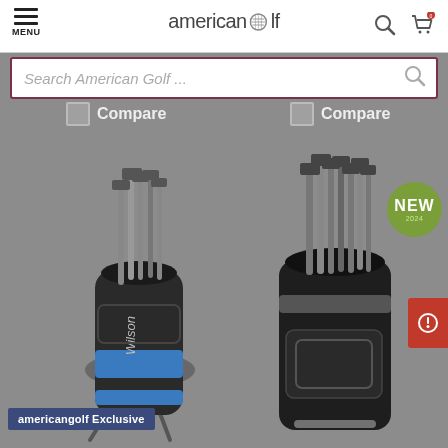american golf — MENU, search bar, cart icon
Compare
Compare
[Figure (photo): Wilson golf bag with blue accents and clubs on a stand, with 'americangolf Exclusive' badge]
[Figure (photo): Black golf cart bag with clubs, 'NEW' badge in green circle, red badge on right side]